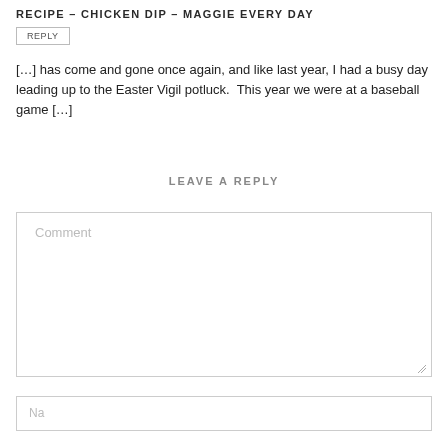RECIPE – CHICKEN DIP – MAGGIE EVERY DAY
REPLY
[…] has come and gone once again, and like last year, I had a busy day leading up to the Easter Vigil potluck.  This year we were at a baseball game […]
LEAVE A REPLY
Comment
Name